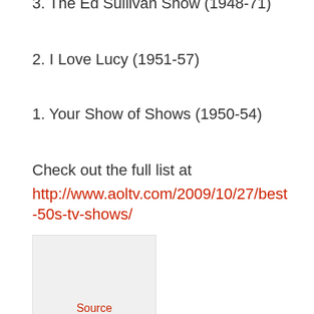3. The Ed Sullivan Show (1948-71)
2. I Love Lucy (1951-57)
1. Your Show of Shows (1950-54)
Check out the full list at
http://www.aoltv.com/2009/10/27/best-50s-tv-shows/
[Figure (other): Embedded image or video placeholder box with 'Source' label in red at the bottom]